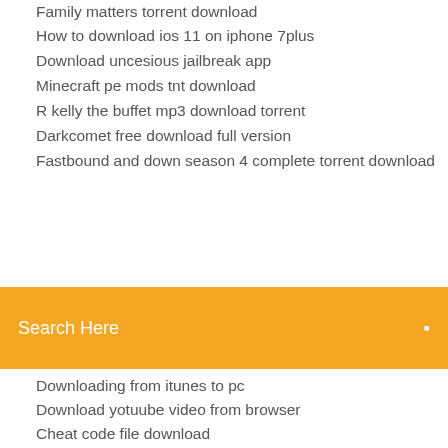Family matters torrent download
How to download ios 11 on iphone 7plus
Download uncesious jailbreak app
Minecraft pe mods tnt download
R kelly the buffet mp3 download torrent
Darkcomet free download full version
Fastbound and down season 4 complete torrent download
[Figure (screenshot): Orange search bar with text 'Search Here' and a search icon on the right]
Downloading from itunes to pc
Download yotuube video from browser
Cheat code file download
Hp 8600 drivers download
Nuance pdf viewer plus se free download
Isobuster free download full version with key
Mastering android development with kotlin pdf free download
Iphone download movie apps
U torrent download vista